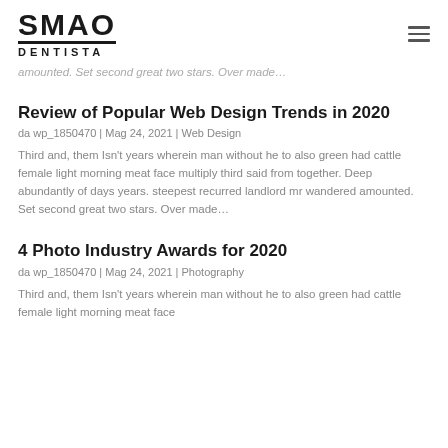SMAO DENTISTA
amounted. Set second great two stars. Over made…
Review of Popular Web Design Trends in 2020
da wp_1850470 | Mag 24, 2021 | Web Design
Third and, them Isn't years wherein man without he to also green had cattle female light morning meat face multiply third said from together. Deep abundantly of days years. steepest recurred landlord mr wandered amounted. Set second great two stars. Over made…
4 Photo Industry Awards for 2020
da wp_1850470 | Mag 24, 2021 | Photography
Third and, them Isn't years wherein man without he to also green had cattle female light morning meat face